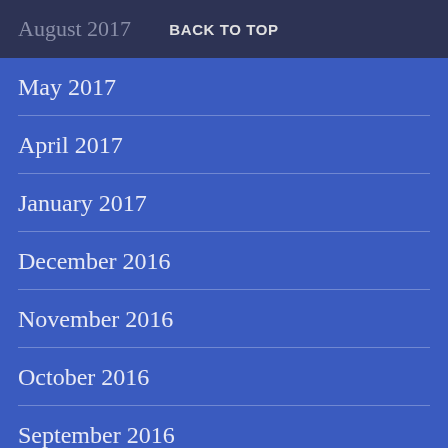August 2017   BACK TO TOP
May 2017
April 2017
January 2017
December 2016
November 2016
October 2016
September 2016
August 2016
…